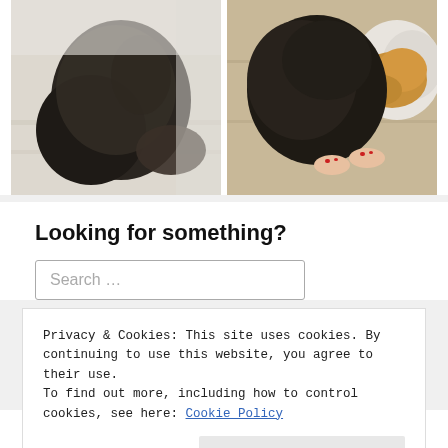[Figure (photo): Two photos side by side: left shows a dark long-haired dog lying on a light wood floor; right shows a large dark dog and a small golden dog on a wood floor with a person's bare feet with red nail polish visible.]
Looking for something?
Search ...
Privacy & Cookies: This site uses cookies. By continuing to use this website, you agree to their use.
To find out more, including how to control cookies, see here: Cookie Policy
Close and accept
[Figure (logo): Partial decorative cursive/script logo text in teal/turquoise color at the bottom of the page]